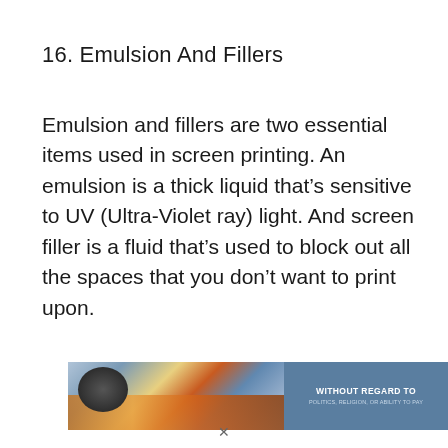16. Emulsion And Fillers
Emulsion and fillers are two essential items used in screen printing. An emulsion is a thick liquid that’s sensitive to UV (Ultra-Violet ray) light. And screen filler is a fluid that’s used to block out all the spaces that you don’t want to print upon.
[Figure (photo): Advertisement banner showing an airplane being loaded with cargo on the left side, and a blue-grey panel on the right with text reading WITHOUT REGARD TO POLITICS, RELIGION, OR ABILITY TO PAY.]